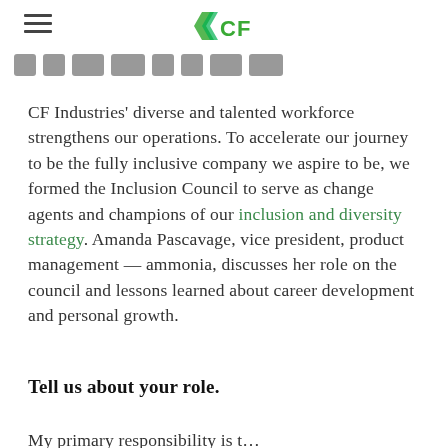VCF (logo)
[Figure (logo): VCF logo with green arrow/chevron mark and 'VCF' text in green, centered at top of page]
[Figure (other): Row of social media icon placeholders (gray icons for various platforms)]
CF Industries' diverse and talented workforce strengthens our operations. To accelerate our journey to be the fully inclusive company we aspire to be, we formed the Inclusion Council to serve as change agents and champions of our inclusion and diversity strategy. Amanda Pascavage, vice president, product management — ammonia, discusses her role on the council and lessons learned about career development and personal growth.
Tell us about your role.
My primary responsibility is t…